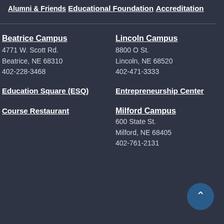Alumni & Friends
Educational Foundation
Accreditation
Beatrice Campus
4771 W. Scott Rd.
Beatrice, NE 68310
402-228-3468
Lincoln Campus
8800 O St.
Lincoln, NE 68520
402-471-3333
Education Square (ESQ)
Entrepreneurship Center
Course Restaurant
Milford Campus
600 State St.
Milford, NE 68405
402-761-2131